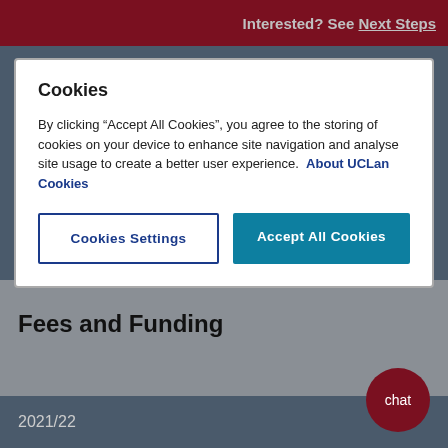Interested? See Next Steps
Cookies
By clicking “Accept All Cookies”, you agree to the storing of cookies on your device to enhance site navigation and analyse site usage to create a better user experience.  About UCLan Cookies
Cookies Settings
Accept All Cookies
Fees and Funding
2021/22
chat